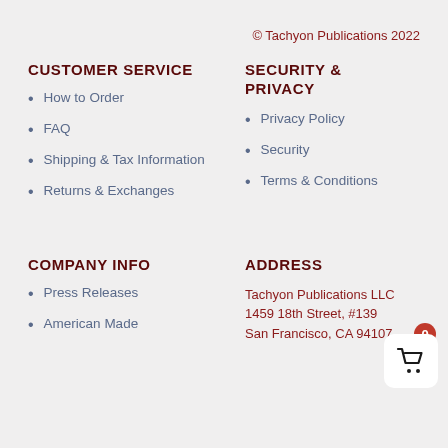© Tachyon Publications 2022
CUSTOMER SERVICE
SECURITY & PRIVACY
How to Order
FAQ
Shipping & Tax Information
Returns & Exchanges
Privacy Policy
Security
Terms & Conditions
COMPANY INFO
ADDRESS
Press Releases
American Made
Tachyon Publications LLC
1459 18th Street, #139
San Francisco, CA 94107